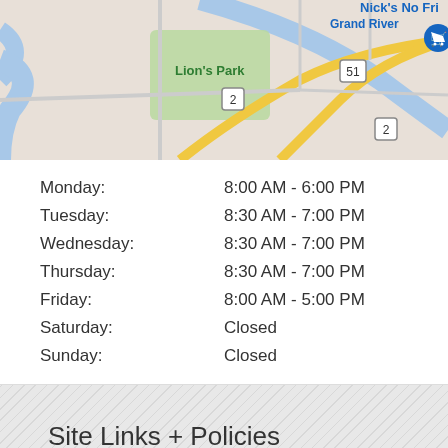[Figure (map): Google Maps partial view showing Lion's Park, Grand River, Nick's No Frills store marker, and road intersections with route markers 2 and 51.]
| Day | Hours |
| --- | --- |
| Monday: | 8:00 AM - 6:00 PM |
| Tuesday: | 8:30 AM - 7:00 PM |
| Wednesday: | 8:30 AM - 7:00 PM |
| Thursday: | 8:30 AM - 7:00 PM |
| Friday: | 8:00 AM - 5:00 PM |
| Saturday: | Closed |
| Sunday: | Closed |
Site Links + Policies
Home